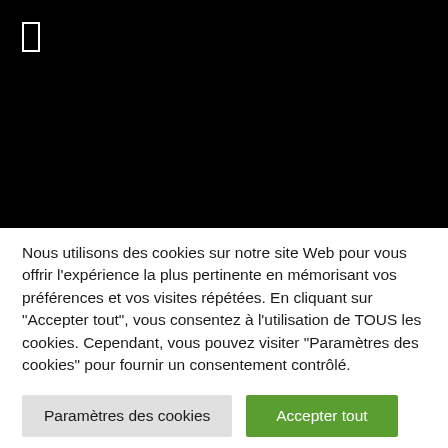[Figure (screenshot): Black screen with a white outlined rectangle/cursor in the upper left area]
Nous utilisons des cookies sur notre site Web pour vous offrir l'expérience la plus pertinente en mémorisant vos préférences et vos visites répétées. En cliquant sur "Accepter tout", vous consentez à l'utilisation de TOUS les cookies. Cependant, vous pouvez visiter "Paramètres des cookies" pour fournir un consentement contrôlé.
Paramètres des cookies
Accepter tout